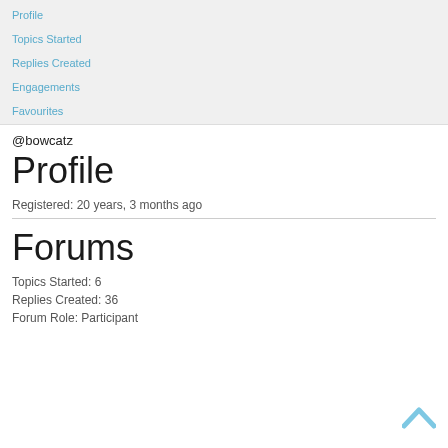Profile
Topics Started
Replies Created
Engagements
Favourites
@bowcatz
Profile
Registered: 20 years, 3 months ago
Forums
Topics Started: 6
Replies Created: 36
Forum Role: Participant